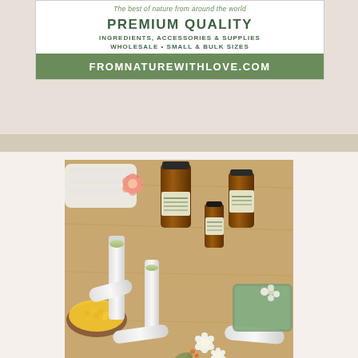The best of nature from around the world
PREMIUM QUALITY
INGREDIENTS, ACCESSORIES & SUPPLIES
WHOLESALE • SMALL & BULK SIZES
FROMNATUREWITHLOVE.COM
[Figure (photo): Product photo showing white lip balm tubes, amber essential oil bottles with green labels, beeswax pellets in a wooden bowl, and white flowers arranged on a wooden surface, representing natural cosmetic making supplies]